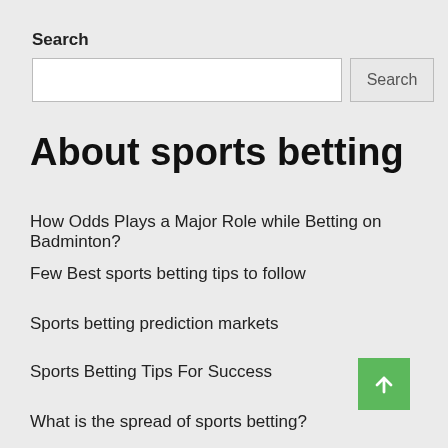Search
[Search input box and Search button]
About sports betting
How Odds Plays a Major Role while Betting on Badminton?
Few Best sports betting tips to follow
Sports betting prediction markets
Sports Betting Tips For Success
What is the spread of sports betting?
Archives